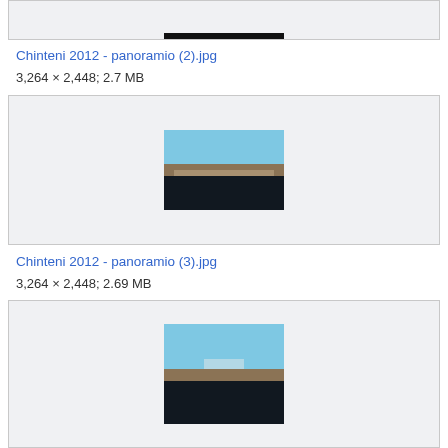[Figure (photo): Partial view of a landscape photo at top of page, partially cropped]
Chinteni 2012 - panoramio (2).jpg
3,264 × 2,448; 2.7 MB
[Figure (photo): Landscape panoramic photo showing a town or village on a hillside with blue sky, brown terrain, and dark water/ground in foreground]
Chinteni 2012 - panoramio (3).jpg
3,264 × 2,448; 2.69 MB
[Figure (photo): Landscape panoramic photo similar to previous, showing terrain with blue sky, partial crop at bottom of page]